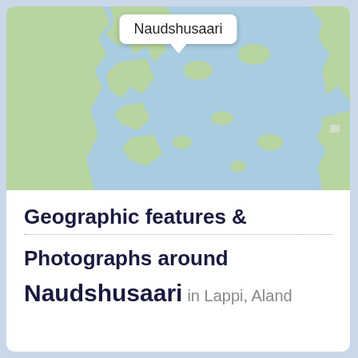[Figure (map): A map showing the area around Naudshusaari with water bodies in blue and land in green/white. A white callout bubble with the text 'Naudshusaari' is visible at the top center of the map.]
Geographic features &
Photographs around Naudshusaari in Lappi, Aland